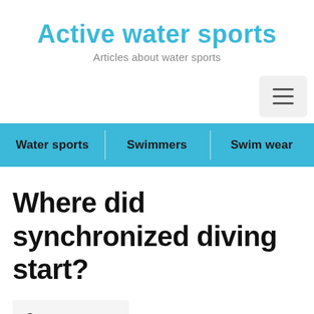Active water sports
Articles about water sports
[Figure (other): Hamburger menu button icon (three horizontal lines) on a light gray rounded rectangle background]
Water sports   Swimmers   Swim wear
Where did synchronized diving start?
Contents [ show ]